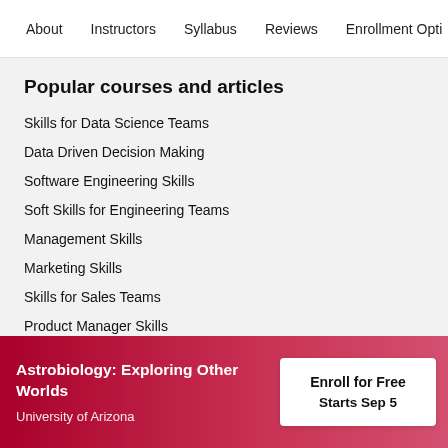About   Instructors   Syllabus   Reviews   Enrollment Opti
Popular courses and articles
Skills for Data Science Teams
Data Driven Decision Making
Software Engineering Skills
Soft Skills for Engineering Teams
Management Skills
Marketing Skills
Skills for Sales Teams
Product Manager Skills
Skills for Finance
Astrobiology: Exploring Other Worlds
University of Arizona
Enroll for Free
Starts Sep 5